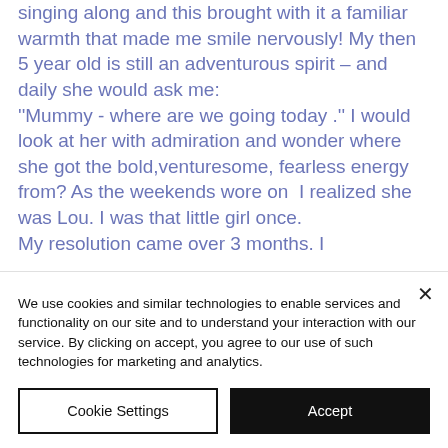singing along and this brought with it a familiar warmth that made me smile nervously! My then 5 year old is still an adventurous spirit – and daily she would ask me:
''Mummy - where are we going today .'' I would look at her with admiration and wonder where she got the bold,venturesome, fearless energy from? As the weekends wore on  I realized she was Lou. I was that little girl once.
My resolution came over 3 months. I
We use cookies and similar technologies to enable services and functionality on our site and to understand your interaction with our service. By clicking on accept, you agree to our use of such technologies for marketing and analytics.
Cookie Settings
Accept